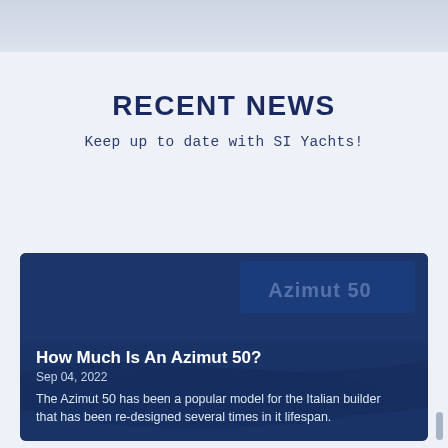RECENT NEWS
Keep up to date with SI Yachts!
[Figure (photo): Card with yacht photo background (Azimut 50) overlaid with dark blue semi-transparent layer, showing article title, date, and excerpt text]
How Much Is An Azimut 50?
Sep 04, 2022
The Azimut 50 has been a popular model for the Italian builder that has been re-designed several times in it lifespan.